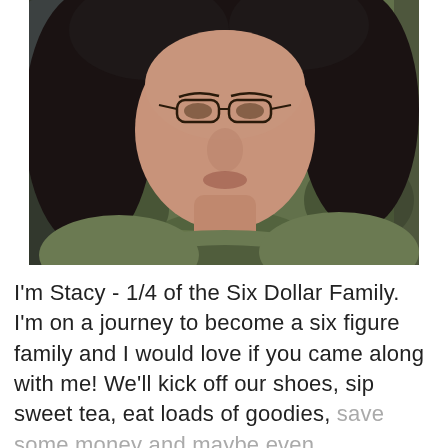[Figure (photo): A woman with dark curly hair wearing glasses and a camouflage shirt, taking a selfie.]
I'm Stacy - 1/4 of the Six Dollar Family. I'm on a journey to become a six figure family and I would love if you came along with me! We'll kick off our shoes, sip sweet tea, eat loads of goodies, save some money and maybe even